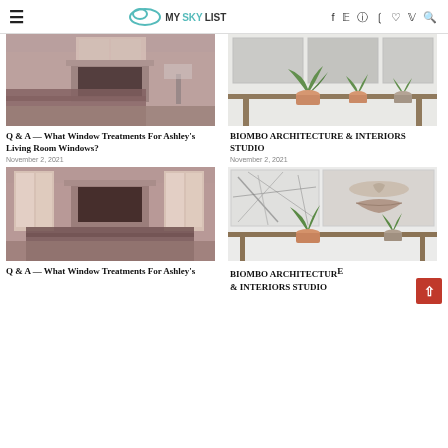≡  MYSKYLIST  f  ✓  ◎  ⊕  ♡  v  🔍
[Figure (photo): Interior living room with fireplace and couch, warm toned photo]
Q & A — What Window Treatments For Ashley's Living Room Windows?
November 2, 2021
[Figure (photo): Shelf with green plants and decorative pots against white wall with artwork]
BIOMBO ARCHITECTURE & INTERIORS STUDIO
November 2, 2021
[Figure (photo): Interior living room with fireplace and windows, warm toned photo]
Q & A — What Window Treatments For Ashley's
[Figure (photo): Shelf with green plants and face portrait artwork on wall]
BIOMBO ARCHITECTURE & INTERIORS STUDIO